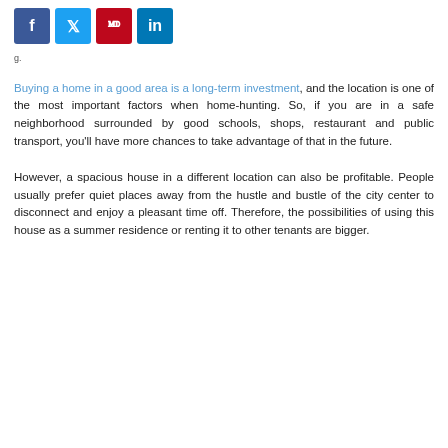[Figure (other): Social media share buttons: Facebook (blue), Twitter (light blue), Pinterest (red), LinkedIn (blue)]
Buying a home in a good area is a long-term investment, and the location is one of the most important factors when home-hunting. So, if you are in a safe neighborhood surrounded by good schools, shops, restaurant and public transport, you'll have more chances to take advantage of that in the future.
However, a spacious house in a different location can also be profitable. People usually prefer quiet places away from the hustle and bustle of the city center to disconnect and enjoy a pleasant time off. Therefore, the possibilities of using this house as a summer residence or renting it to other tenants are bigger.